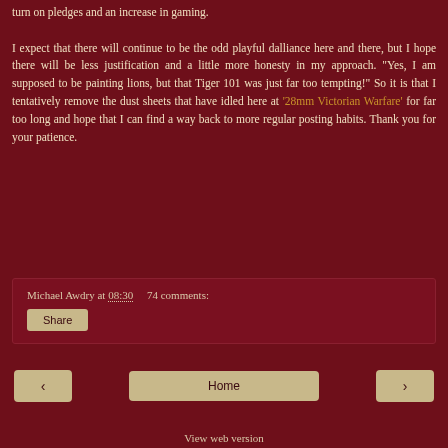turn on pledges and an increase in gaming.
I expect that there will continue to be the odd playful dalliance here and there, but I hope there will be less justification and a little more honesty in my approach. “Yes, I am supposed to be painting lions, but that Tiger 101 was just far too tempting!”  So it is that I tentatively remove the dust sheets that have idled here at ‘28mm Victorian Warfare’ for far too long and hope that I can find a way back to more regular posting habits.  Thank you for your patience.
Michael Awdry at 08:30     74 comments:
Share
‹
Home
›
View web version